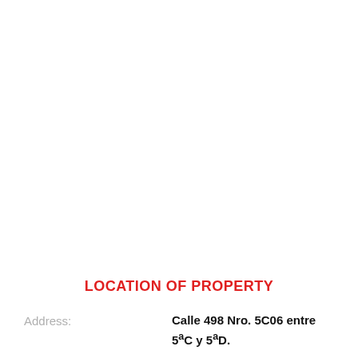LOCATION OF PROPERTY
Address:   Calle 498 Nro. 5C06 entre 5ªC y 5ªD.